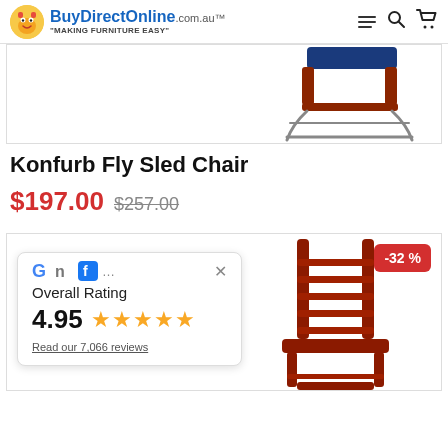BuyDirectOnline.com.au "MAKING FURNITURE EASY"
[Figure (photo): Partial product image of a sled chair with blue seat and chrome frame, viewed from above/side angle]
Konfurb Fly Sled Chair
$197.00  $257.00
[Figure (photo): Second product listing card showing a wooden ladder-back chair in red/mahogany color with a -32% discount badge, and an overlay rating popup showing Overall Rating 4.95 stars from 7,066 reviews]